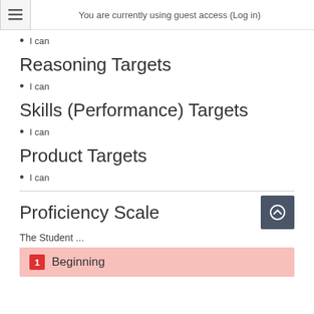You are currently using guest access (Log in)
I can
Reasoning Targets
I can
Skills (Performance) Targets
I can
Product Targets
I can
Proficiency Scale
The Student ...
1 Beginning